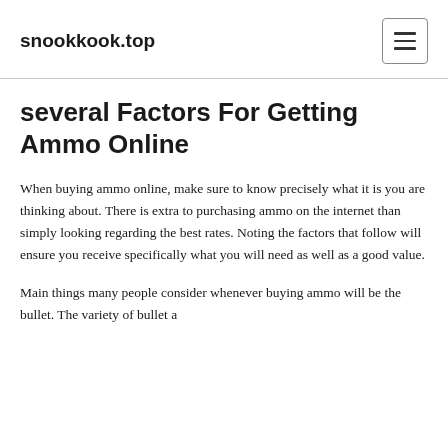snookkook.top
several Factors For Getting Ammo Online
When buying ammo online, make sure to know precisely what it is you are thinking about. There is extra to purchasing ammo on the internet than simply looking regarding the best rates. Noting the factors that follow will ensure you receive specifically what you will need as well as a good value.
Main things many people consider whenever buying ammo will be the bullet. The variety of bullet a